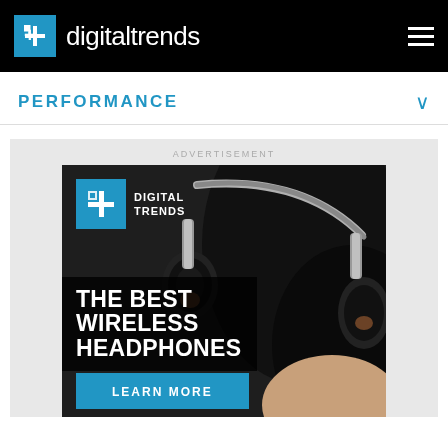digitaltrends
PERFORMANCE
ADVERTISEMENT
[Figure (illustration): Digital Trends advertisement showing wireless headphones being worn, with 'THE BEST WIRELESS HEADPHONES' headline, Digital Trends logo, and a 'LEARN MORE' call-to-action button in blue.]